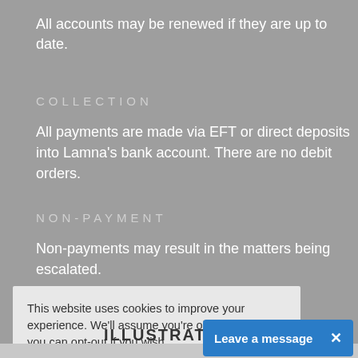All accounts may be renewed if they are up to date.
COLLECTION
All payments are made via EFT or direct deposits into Lamna’s bank account. There are no debit orders.
NON-PAYMENT
Non-payments may result in the matters being escalated.
This website uses cookies to improve your experience. We'll assume you're ok with this, but you can opt-out if you wish. Settings Privacy ACCEPT
ILLUSTRATIVE
Leave a message ×